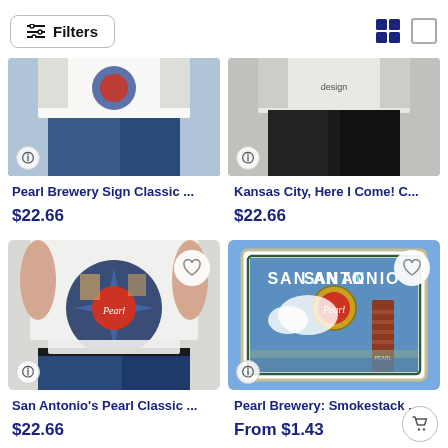Filters
[Figure (photo): Partial product image - Pearl Brewery Sign Classic t-shirt, showing torso in jeans]
Pearl Brewery Sign Classic ...
$22.66
[Figure (photo): Partial product image - Kansas City Here I Come Classic, showing torso in white/black]
Kansas City, Here I Come! C...
$22.66
[Figure (photo): San Antonio's Pearl Classic t-shirt on model - vintage Pearl Brewery design]
San Antonio's Pearl Classic ...
$22.66
[Figure (photo): Pearl Brewery Smokestack sticker - vintage travel poster style with San Antonio skyline and Pearl smokestack]
Pearl Brewery: Smokestack ...
From $1.43